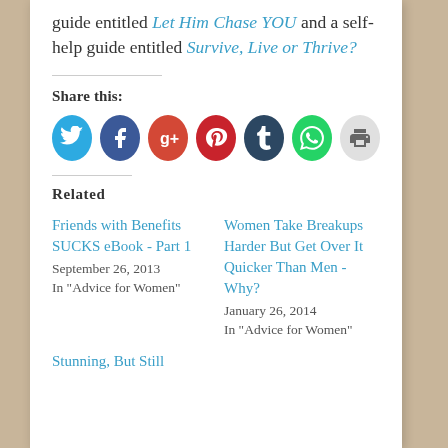guide entitled Let Him Chase YOU and a self-help guide entitled Survive, Live or Thrive?
Share this:
[Figure (infographic): Row of social sharing icons: Twitter (blue), Facebook (dark blue), Google+ (orange-red), Pinterest (red), Tumblr (dark navy), WhatsApp (green), Print (gray)]
Related
Friends with Benefits SUCKS eBook - Part 1
September 26, 2013
In "Advice for Women"
Women Take Breakups Harder But Get Over It Quicker Than Men - Why?
January 26, 2014
In "Advice for Women"
Stunning, But Still